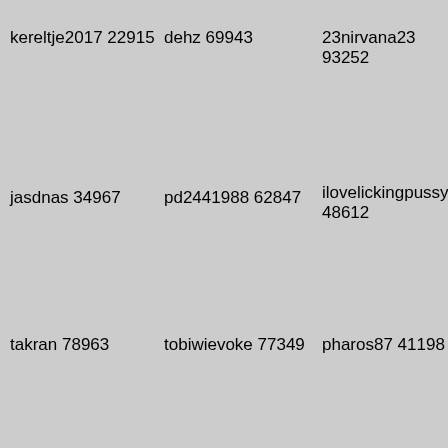kereltje2017 22915
dehz 69943
23nirvana23 93252
jasdnas 34967
pd2441988 62847
ilovelickingpussyand 48612
takran 78963
tobiwievoke 77349
pharos87 41198